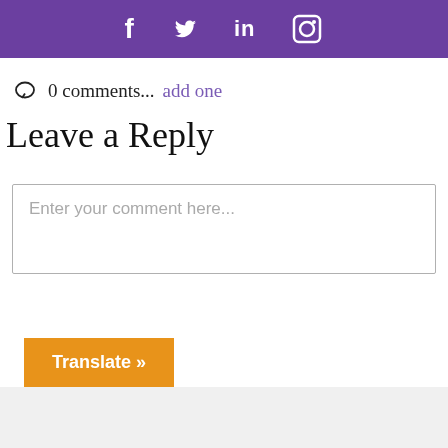[Figure (other): Purple horizontal bar with social media icons: Facebook (f), Twitter (bird), LinkedIn (in), Instagram (camera)]
0 comments... add one
Leave a Reply
Enter your comment here...
Translate »